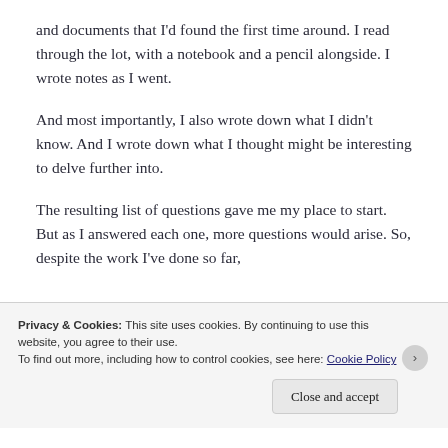and documents that I'd found the first time around. I read through the lot, with a notebook and a pencil alongside. I wrote notes as I went.
And most importantly, I also wrote down what I didn't know. And I wrote down what I thought might be interesting to delve further into.
The resulting list of questions gave me my place to start. But as I answered each one, more questions would arise. So, despite the work I've done so far,
Privacy & Cookies: This site uses cookies. By continuing to use this website, you agree to their use.
To find out more, including how to control cookies, see here: Cookie Policy
Close and accept